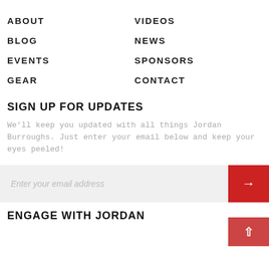ABOUT
VIDEOS
BLOG
NEWS
EVENTS
SPONSORS
GEAR
CONTACT
SIGN UP FOR UPDATES
We'll keep you updated with all things Jordan Burroughs. Just enter your email below and keep your eyes peeled!
Enter your email address
ENGAGE WITH JORDAN